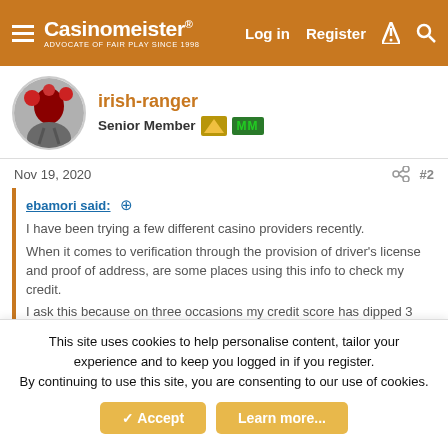Casinomeister — Log in  Register
irish-ranger
Senior Member MM
Nov 19, 2020   #2
ebamori said:
I have been trying a few different casino providers recently.
When it comes to verification through the provision of driver's license and proof of address, are some places using this info to check my credit.
I ask this because on three occasions my credit score has dipped 3 or 5 points (indicative of a hard credit enquiry) around the time I am verifying an account in order to get paid.
I'm not particularly bothered about the 3-5 points, I just don't like the
Click to expand...
This site uses cookies to help personalise content, tailor your experience and to keep you logged in if you register.
By continuing to use this site, you are consenting to our use of cookies.
Accept  Learn more...